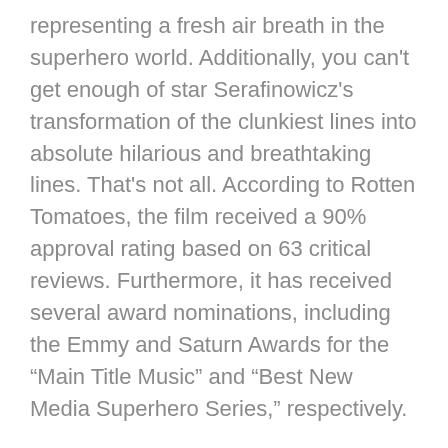representing a fresh air breath in the superhero world. Additionally, you can't get enough of star Serafinowicz's transformation of the clunkiest lines into absolute hilarious and breathtaking lines. That's not all. According to Rotten Tomatoes, the film received a 90% approval rating based on 63 critical reviews. Furthermore, it has received several award nominations, including the Emmy and Saturn Awards for the “Main Title Music” and “Best New Media Superhero Series,” respectively.
The show’s debut season begins with Arthur going through trauma due to The Terror’s actions that led to his father’s demise. Arthur vividly remembers this incident as he was one of the witnesses. Fortunately for Arthur, The Terror dies, but there is a conspiracy theory that he might still be alive. Arthur pursues any available evidence of this conspiracy theory. The second season is rather promising